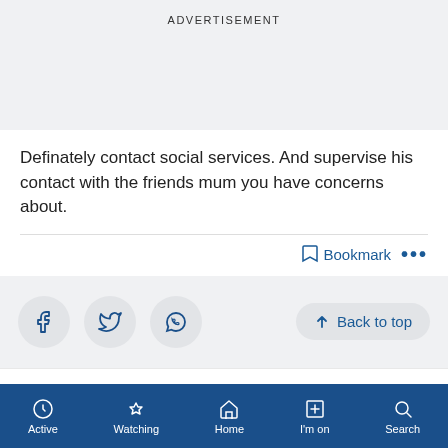ADVERTISEMENT
Definately contact social services. And supervise his contact with the friends mum you have concerns about.
Bookmark ...
[Figure (other): Social share icons: Facebook, Twitter, WhatsApp, and a Back to top button]
Please create an account
To comment on this thread you need to create a
Active  Watching  Home  I'm on  Search